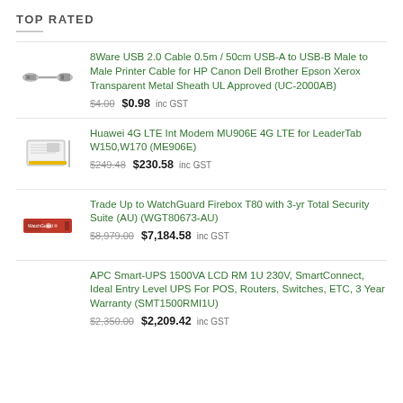TOP RATED
8Ware USB 2.0 Cable 0.5m / 50cm USB-A to USB-B Male to Male Printer Cable for HP Canon Dell Brother Epson Xerox Transparent Metal Sheath UL Approved (UC-2000AB) — $4.00 $0.98 inc GST
Huawei 4G LTE Int Modem MU906E 4G LTE for LeaderTab W150,W170 (ME906E) — $249.48 $230.58 inc GST
Trade Up to WatchGuard Firebox T80 with 3-yr Total Security Suite (AU) (WGT80673-AU) — $8,979.00 $7,184.58 inc GST
APC Smart-UPS 1500VA LCD RM 1U 230V, SmartConnect, Ideal Entry Level UPS For POS, Routers, Switches, ETC, 3 Year Warranty (SMT1500RMI1U) — $2,350.00 $2,209.42 inc GST